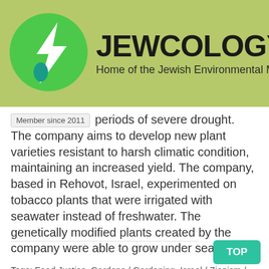JEWCOLOGY.ORG — Home of the Jewish Environmental Movement
Member since 2011   periods of severe drought. The company aims to develop new plant varieties resistant to harsh climatic condition, maintaining an increased yield. The company, based in Rehovot, Israel, experimented on tobacco plants that were irrigated with seawater instead of freshwater. The genetically modified plants created by the company were able to grow under seawater ...
Tags: Food Justice, Gardens / Gardening, Israel / Zionism / Middle East, Land Use
READ MORE
TOP